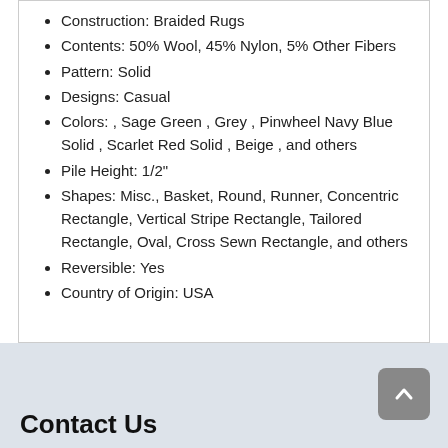Construction: Braided Rugs
Contents: 50% Wool, 45% Nylon, 5% Other Fibers
Pattern: Solid
Designs: Casual
Colors: , Sage Green , Grey , Pinwheel Navy Blue Solid , Scarlet Red Solid , Beige , and others
Pile Height: 1/2"
Shapes: Misc., Basket, Round, Runner, Concentric Rectangle, Vertical Stripe Rectangle, Tailored Rectangle, Oval, Cross Sewn Rectangle, and others
Reversible: Yes
Country of Origin: USA
Contact Us